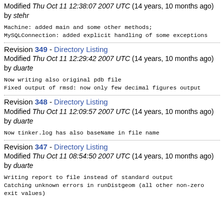Modified Thu Oct 11 12:38:07 2007 UTC (14 years, 10 months ago) by stehr
Machine: added main and some other methods;
MySQLConnection: added explicit handling of some exceptions
Revision 349 - Directory Listing
Modified Thu Oct 11 12:29:42 2007 UTC (14 years, 10 months ago) by duarte
Now writing also original pdb file
Fixed output of rmsd: now only few decimal figures output
Revision 348 - Directory Listing
Modified Thu Oct 11 12:09:57 2007 UTC (14 years, 10 months ago) by duarte
Now tinker.log has also baseName in file name
Revision 347 - Directory Listing
Modified Thu Oct 11 08:54:50 2007 UTC (14 years, 10 months ago) by duarte
Writing report to file instead of standard output
Catching unknown errors in runDistgeom (all other non-zero exit values)